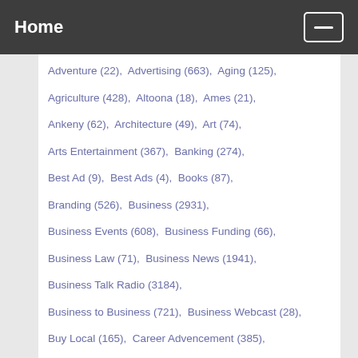Home
Adventure (22),  Advertising (663),  Aging (125),
Agriculture (428),  Altoona (18),  Ames (21),
Ankeny (62),  Architecture (49),  Art (74),
Arts Entertainment (367),  Banking (274),
Best Ad (9),  Best Ads (4),  Books (87),
Branding (526),  Business (2931),
Business Events (608),  Business Funding (66),
Business Law (71),  Business News (1941),
Business Talk Radio (3184),
Business to Business (721),  Business Webcast (28),
Buy Local (165),  Career Advencement (385),
Chamber News (41),  Cityview Des Moines (216),
Clive (16),  Communication (381),
Construction (141),  Consumer Trends (543),